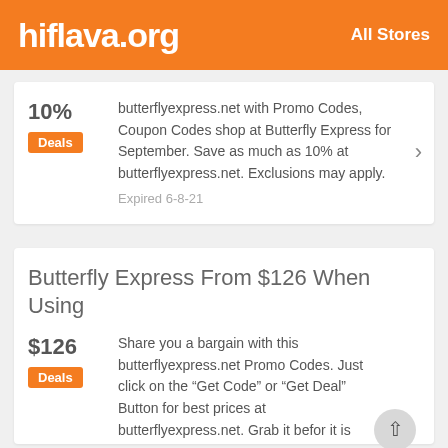hiflava.org    All Stores
10%
Deals
butterflyexpress.net with Promo Codes, Coupon Codes shop at Butterfly Express for September. Save as much as 10% at butterflyexpress.net. Exclusions may apply.
Expired 6-8-21
Butterfly Express From $126 When Using
$126
Deals
Share you a bargain with this butterflyexpress.net Promo Codes. Just click on the "Get Code" or "Get Deal" Button for best prices at butterflyexpress.net. Grab it befor it is gone.